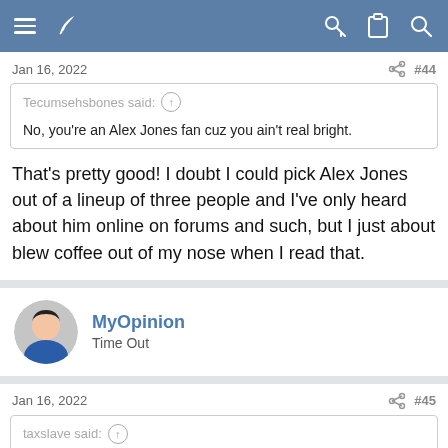Forum navigation bar
Jan 16, 2022  #44
Tecumsehsbones said: ↑
No, you're an Alex Jones fan cuz you ain't real bright.
That's pretty good! I doubt I could pick Alex Jones out of a lineup of three people and I've only heard about him online on forums and such, but I just about blew coffee out of my nose when I read that.
MyOpinion
Time Out
Jan 16, 2022  #45
taxslave said: ↑
Most of what you quoted here is not factual. But if you really believe